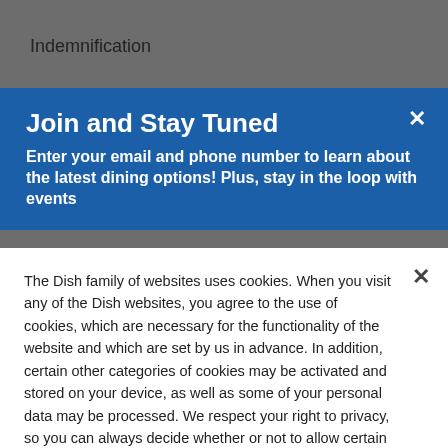Indemnification
Join and Stay Tuned
Enter your email and phone number to learn about the latest dining options! Plus, stay in the loop with events
The Dish family of websites uses cookies. When you visit any of the Dish websites, you agree to the use of cookies, which are necessary for the functionality of the website and which are set by us in advance. In addition, certain other categories of cookies may be activated and stored on your device, as well as some of your personal data may be processed. We respect your right to privacy, so you can always decide whether or not to allow certain additional categories of cookies by managing your cookie settings. Please note that your cookie selections will apply to the entire Dish family of websites. For more information about the types of cookies and how we use them, please visit our Privacy Policy
Cookie Preferences
Accept Cookies